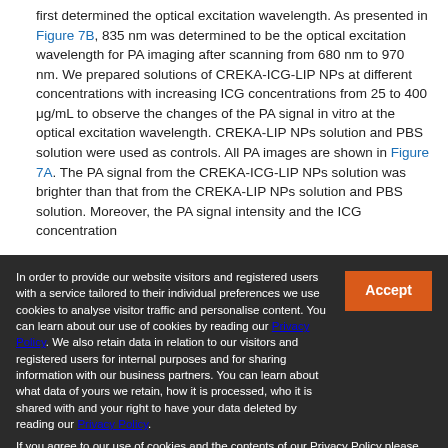first determined the optical excitation wavelength. As presented in Figure 7B, 835 nm was determined to be the optical excitation wavelength for PA imaging after scanning from 680 nm to 970 nm. We prepared solutions of CREKA-ICG-LIP NPs at different concentrations with increasing ICG concentrations from 25 to 400 μg/mL to observe the changes of the PA signal in vitro at the optical excitation wavelength. CREKA-LIP NPs solution and PBS solution were used as controls. All PA images are shown in Figure 7A. The PA signal from the CREKA-ICG-LIP NPs solution was brighter than that from the CREKA-LIP NPs solution and PBS solution. Moreover, the PA signal intensity and the ICG concentration
In order to provide our website visitors and registered users with a service tailored to their individual preferences we use cookies to analyse visitor traffic and personalise content. You can learn about our use of cookies by reading our Privacy Policy. We also retain data in relation to our visitors and registered users for internal purposes and for sharing information with our business partners. You can learn about what data of yours we retain, how it is processed, who it is shared with and your right to have your data deleted by reading our Privacy Policy. If you agree to our use of cookies and the contents of our Privacy Policy please click 'accept'.